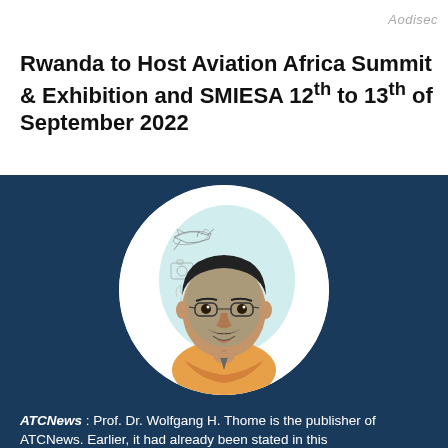Aodisec
Rwanda to Host Aviation Africa Summit & Exhibition and SMIESA 12th to 13th of September 2022
[Figure (illustration): Circular portrait illustration of Prof. Dr. Wolfgang H. Thome, showing a smiling man with glasses and mustache, wearing an orange-collared shirt, with sketch-style background elements including an airplane and camera, on a white circular background set against a dark blue panel.]
ATCNews : Prof. Dr. Wolfgang H. Thome is the publisher of ATCNews. Earlier, it had already been stated in this